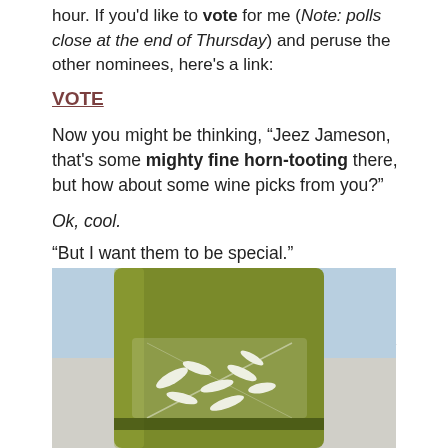hour. If you'd like to vote for me (Note: polls close at the end of Thursday) and peruse the other nominees, here's a link:
VOTE
Now you might be thinking, “Jeez Jameson, that's some mighty fine horn-tooting there, but how about some wine picks from you?”
Ok, cool.
“But I want them to be special.”
Got it.
“And from California.”
DONE AND DONE. I have a white and a red for you.
[Figure (photo): Close-up photo of a wine bottle with a gold/olive green color and a decorative botanical leaf pattern label]